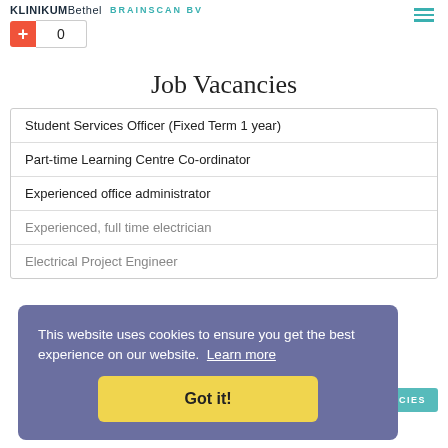KLINIKUM Bethel  BRAINSCAN BV
0
Job Vacancies
Student Services Officer (Fixed Term 1 year)
Part-time Learning Centre Co-ordinator
Experienced office administrator
Experienced, full time electrician
Electrical Project Engineer
This website uses cookies to ensure you get the best experience on our website. Learn more
Got it!
MORE JOB VACANCIES
Family Notices